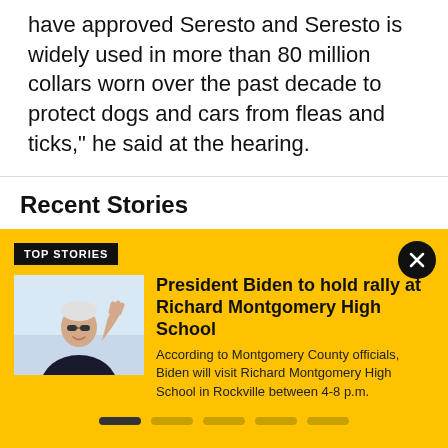have approved Seresto and Seresto is widely used in more than 80 million collars worn over the past decade to protect dogs and cars from fleas and ticks," he said at the hearing.
Recent Stories
TOP STORIES
[Figure (photo): President Biden waving, wearing sunglasses and a dark suit]
President Biden to hold rally at Richard Montgomery High School
According to Montgomery County officials, Biden will visit Richard Montgomery High School in Rockville between 4-8 p.m.